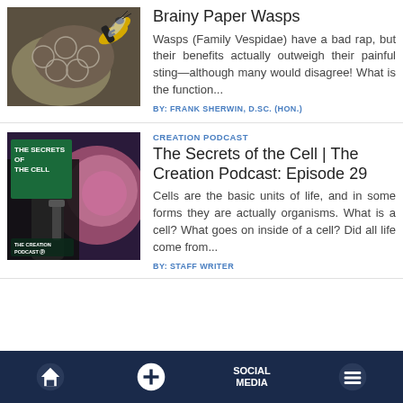[Figure (photo): Close-up photo of a paper wasp on a nest]
Brainy Paper Wasps
Wasps (Family Vespidae) have a bad rap, but their benefits actually outweigh their painful sting—although many would disagree! What is the function...
BY: FRANK SHERWIN, D.SC. (HON.)
[Figure (photo): The Secrets of the Cell - The Creation Podcast thumbnail with woman and microscope]
CREATION PODCAST
The Secrets of the Cell | The Creation Podcast: Episode 29
Cells are the basic units of life, and in some forms they are actually organisms. What is a cell? What goes on inside of a cell? Did all life come from...
BY: STAFF WRITER
SOCIAL MEDIA